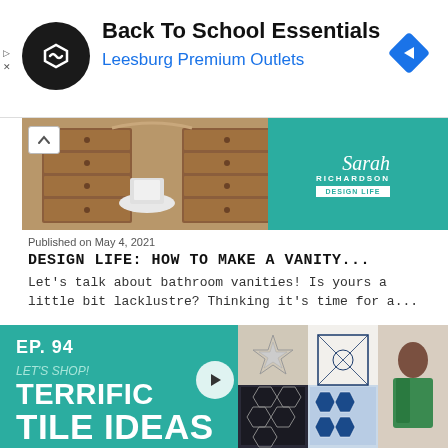[Figure (screenshot): Ad banner for Back To School Essentials at Leesburg Premium Outlets with logo and navigation icon]
Back To School Essentials
Leesburg Premium Outlets
[Figure (photo): Bedroom vanity with wooden dresser drawers and white chair, with Sarah Richardson Design Life logo on teal background]
Published on May 4, 2021
DESIGN LIFE: HOW TO MAKE A VANITY...
Let's talk about bathroom vanities! Is yours a little bit lacklustre? Thinking it's time for a...
[Figure (screenshot): EP. 94 video thumbnail - LET'S SHOP! TERRIFIC TILE IDEAS TO TRANSFORM ANY SPACE! with woman in green cardigan in front of tile samples, teal background]
EP. 94 LET'S SHOP! TERRIFIC TILE IDEAS TO TRANSFORM ANY SPACE!